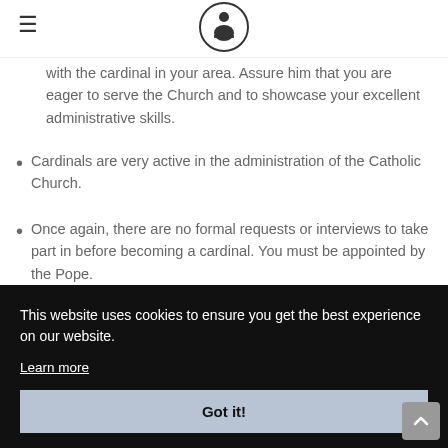[hamburger menu icon] [logo icon]
with the cardinal in your area. Assure him that you are eager to serve the Church and to showcase your excellent administrative skills.
Cardinals are very active in the administration of the Catholic Church.
Once again, there are no formal requests or interviews to take part in before becoming a cardinal. You must be appointed by the Pope.
This website uses cookies to ensure you get the best experience on our website.
Learn more
Got it!